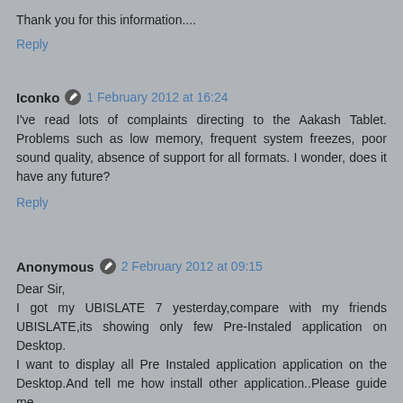Thank you for this information....
Reply
Iconko  1 February 2012 at 16:24
I've read lots of complaints directing to the Aakash Tablet. Problems such as low memory, frequent system freezes, poor sound quality, absence of support for all formats. I wonder, does it have any future?
Reply
Anonymous  2 February 2012 at 09:15
Dear Sir,
I got my UBISLATE 7 yesterday,compare with my friends UBISLATE,its showing only few Pre-Instaled application on Desktop.
I want to display all Pre Instaled application application on the Desktop.And tell me how install other application..Please guide me.